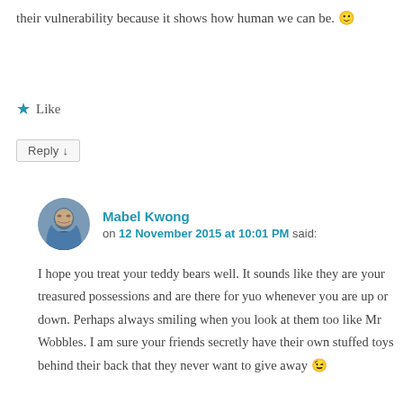their vulnerability because it shows how human we can be. 🙂
★ Like
Reply ↓
Mabel Kwong on 12 November 2015 at 10:01 PM said:
I hope you treat your teddy bears well. It sounds like they are your treasured possessions and are there for yuo whenever you are up or down. Perhaps always smiling when you look at them too like Mr Wobbles. I am sure your friends secretly have their own stuffed toys behind their back that they never want to give away 😉